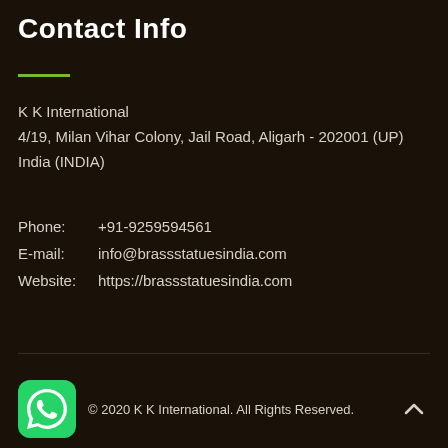Contact Info
K K International
4/19, Milan Vihar Colony, Jail Road, Aligarh - 202001 (UP) India (INDIA)
Phone:    +91-9259594561
E-mail:    info@brassstatuesindia.com
Website:  https://brassstatuesindia.com
© 2020 K K International. All Rights Reserved.